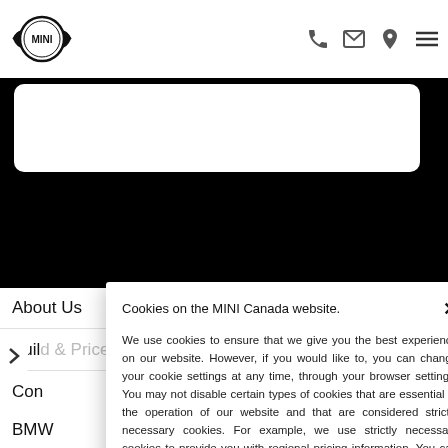[Figure (logo): MINI Cooper circular logo with wings]
[Figure (screenshot): Navigation bar with phone, email, location, and hamburger menu icons]
[Figure (screenshot): Black hero area with white rounded card]
About Us
Build & Price
Con
BMW
Uns
Coo
Priv
Cookies on the MINI Canada website.
We use cookies to ensure that we give you the best experience on our website. However, if you would like to, you can change your cookie settings at any time, through your browser settings. You may not disable certain types of cookies that are essential to the operation of our website and that are considered strictly necessary cookies. For example, we use strictly necessary cookies to provide you with regional pricing information. You can find detailed information about how cookies are used on this website by clicking here.